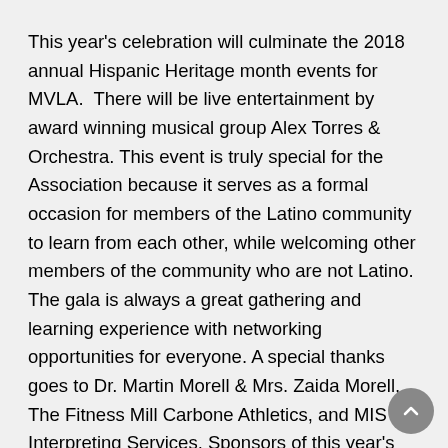This year's celebration will culminate the 2018 annual Hispanic Heritage month events for MVLA.  There will be live entertainment by award winning musical group Alex Torres & Orchestra. This event is truly special for the Association because it serves as a formal occasion for members of the Latino community to learn from each other, while welcoming other members of the community who are not Latino. The gala is always a great gathering and learning experience with networking opportunities for everyone. A special thanks goes to Dr. Martin Morell & Mrs. Zaida Morell, The Fitness Mill Carbone Athletics, and MIS Interpreting Services. Sponsors of this year's event include Roser Communications Networks  (KISS FM 97.9, 99.1/101.1 BUG COUNTRY & WUTQ 100.7 FM), CNY Latino, YWCA Mohawk Valley, AmeriCU Credit Union, Central Association for the Blind and Visual Impairment (CABVI), and other Community Partners and Members.